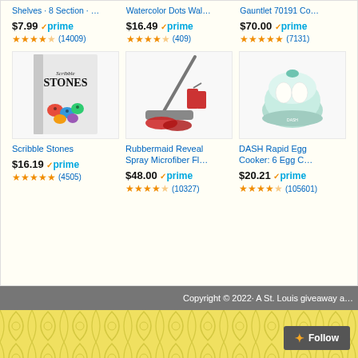Shelves · 8 Section · ...
$7.99 ✓prime
★★★★☆ (14009)
Watercolor Dots Wal...
$16.49 ✓prime
★★★★☆ (409)
Gauntlet 70191 Co...
$70.00 ✓prime
★★★★★ (7131)
[Figure (photo): Book cover: Scribble Stones]
Scribble Stones
$16.19 ✓prime
★★★★★ (4505)
[Figure (photo): Rubbermaid Reveal Spray Microfiber Floor mop with cleaning supplies]
Rubbermaid Reveal Spray Microfiber Fl...
$48.00 ✓prime
★★★★☆ (10327)
[Figure (photo): DASH Rapid Egg Cooker mint green appliance]
DASH Rapid Egg Cooker: 6 Egg C...
$20.21 ✓prime
★★★★☆ (105601)
Copyright © 2022· A St. Louis giveaway a...